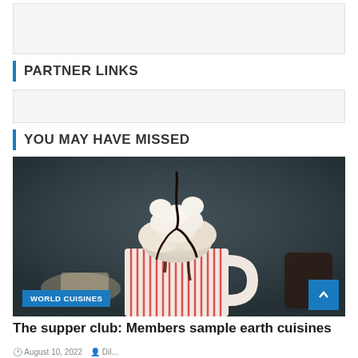[Figure (other): Top advertisement banner placeholder, light gray rectangle]
PARTNER LINKS
[Figure (other): Middle advertisement banner placeholder, light gray rectangle]
YOU MAY HAVE MISSED
[Figure (photo): Photo of a hot chocolate drink in a striped red and white mug, topped with whipped cream and chocolate sauce drizzle, dark moody background. Tag: WORLD CUISINES. Blue scroll-to-top button in bottom right corner.]
The supper club: Members sample earth cuisines
August 10, 2022  Dil...